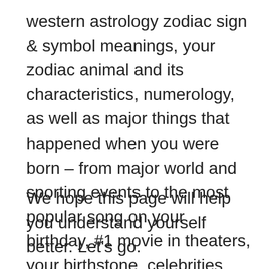western astrology zodiac sign & symbol meanings, your zodiac animal and its characteristics, numerology, as well as major things that happened when you were born – from major world and sporting events to the most popular song on your birthday, #1 movie in theaters, your birthstone, celebrities who share your date of birth and much more!
We hope this page will help you understand yourself better. Let's go.